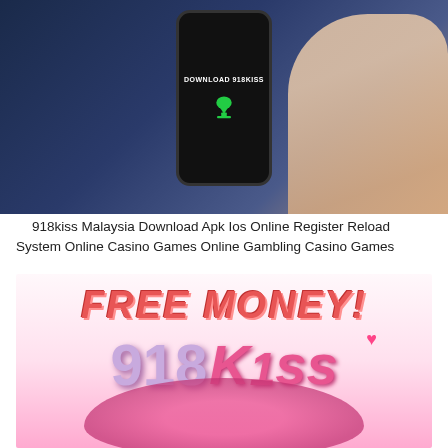[Figure (photo): A hand holding a smartphone with black screen displaying 'DOWNLOAD 918KISS' text and a green cloud download icon, against a blue-toned background]
918kiss Malaysia Download Apk Ios Online Register Reload System Online Casino Games Online Gambling Casino Games
[Figure (illustration): 918Kiss promotional graphic with 'FREE MONEY!' text in red and a pink 918Kiss logo with lips imagery on a light background]